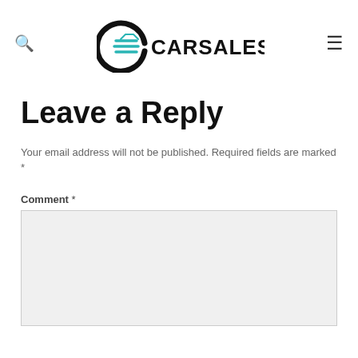[Figure (logo): CARSALESBASE logo with a circular car icon and bold text]
Leave a Reply
Your email address will not be published. Required fields are marked *
Comment *